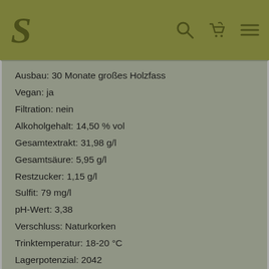[Figure (screenshot): Website header bar with olive/green background showing a stylized S logo on the left and search, cart, and menu icons on the right]
Ausbau: 30 Monate großes Holzfass
Vegan: ja
Filtration: nein
Alkoholgehalt: 14,50 % vol
Gesamtextrakt: 31,98 g/l
Gesamtsäure: 5,95 g/l
Restzucker: 1,15 g/l
Sulfit: 79 mg/l
pH-Wert: 3,38
Verschluss: Naturkorken
Trinktemperatur: 18-20 °C
Lagerpotenzial: 2042
Allergene: enthält Sulfite
MEHR ERFAHREN